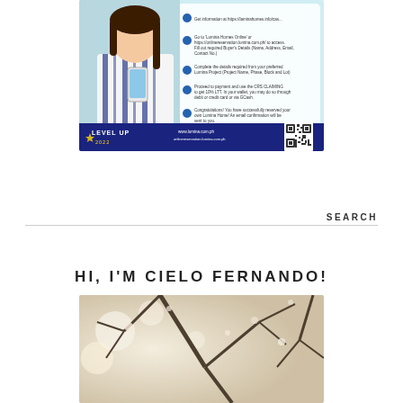[Figure (photo): Promotional image for Lumina Homes 'Level Up 2022' featuring a young woman using a smartphone, with numbered steps for online reservation shown on a teal/blue background. Bottom banner shows website URL and a QR code.]
SEARCH
HI, I'M CIELO FERNANDO!
[Figure (photo): Blurred outdoor photo showing bright bokeh lights and dark tree branches, likely cherry blossoms or a park scene.]